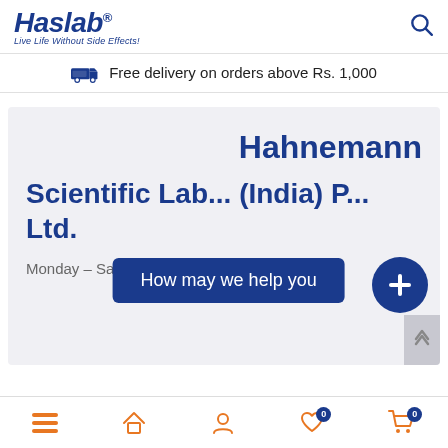[Figure (logo): Haslab logo with tagline 'Live Life Without Side Effects!']
Free delivery on orders above Rs. 1,000
Hahnemann
Scientific Lab... (India) P... Ltd.
Monday – Saturday: 9 AM – 6 PM
How may we help you